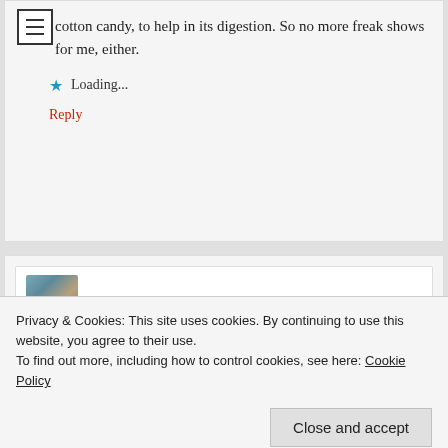cotton candy, to help in its digestion. So no more freak shows for me, either.
Loading...
Reply
Merripen says:
Privacy & Cookies: This site uses cookies. By continuing to use this website, you agree to their use.
To find out more, including how to control cookies, see here: Cookie Policy
Close and accept